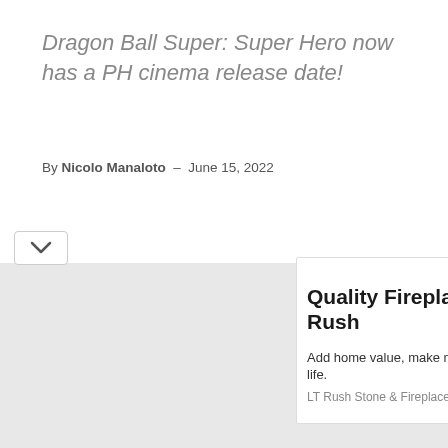Dragon Ball Super: Super Hero now has a PH cinema release date!
By Nicolo Manaloto - June 15, 2022
[Figure (other): Advertisement banner for LT Rush Stone & Fireplace with headline 'Quality Fireplaces at LT Rush', subtext 'Add home value, make memories, love your life.', brand name 'LT Rush Stone & Fireplace', and an 'Open' button. Includes ad controls (play and close icons) in the top right corner.]